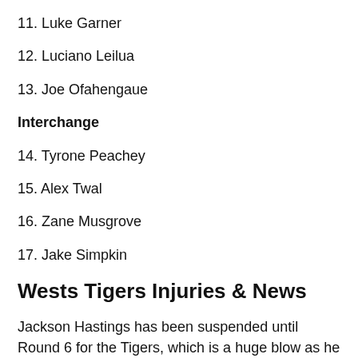11. Luke Garner
12. Luciano Leilua
13. Joe Ofahengaue
Interchange
14. Tyrone Peachey
15. Alex Twal
16. Zane Musgrove
17. Jake Simpkin
Wests Tigers Injuries & News
Jackson Hastings has been suspended until Round 6 for the Tigers, which is a huge blow as he was one of their only shining lights in last week's crushing loss to the Knights. A replacement